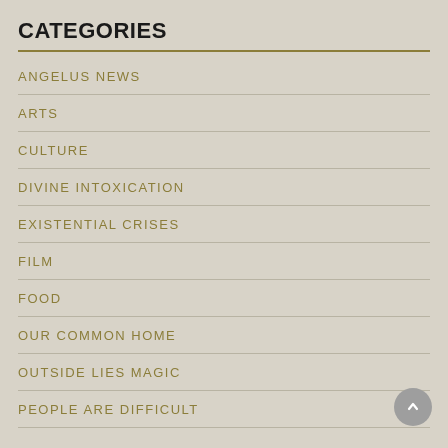CATEGORIES
ANGELUS NEWS
ARTS
CULTURE
DIVINE INTOXICATION
EXISTENTIAL CRISES
FILM
FOOD
OUR COMMON HOME
OUTSIDE LIES MAGIC
PEOPLE ARE DIFFICULT